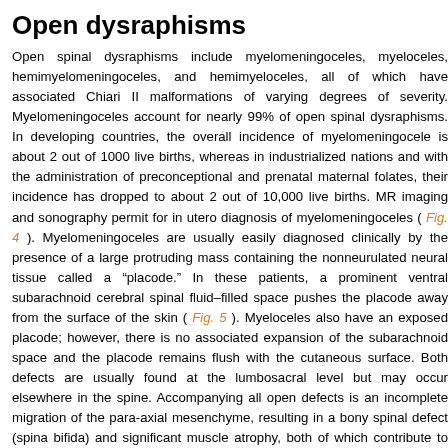Open dysraphisms
Open spinal dysraphisms include myelomeningoceles, myeloceles, hemimyelomeningoceles, and hemimyeloceles, all of which have associated Chiari II malformations of varying degrees of severity. Myelomeningoceles account for nearly 99% of open spinal dysraphisms. In developing countries, the overall incidence of myelomeningocele is about 2 out of 1000 live births, whereas in industrialized nations and with the administration of preconceptional and prenatal maternal folates, their incidence has dropped to about 2 out of 10,000 live births. MR imaging and sonography permit for in utero diagnosis of myelomeningoceles ( Fig. 4 ). Myelomeningoceles are usually easily diagnosed clinically by the presence of a large protruding mass containing the nonneurulated neural tissue called a “placode.” In these patients, a prominent ventral subarachnoid cerebral spinal fluid–filled space pushes the placode away from the surface of the skin ( Fig. 5 ). Myeloceles also have an exposed placode; however, there is no associated expansion of the subarachnoid space and the placode remains flush with the cutaneous surface. Both defects are usually found at the lumbosacral level but may occur elsewhere in the spine. Accompanying all open defects is an incomplete migration of the para-axial mesenchyme, resulting in a bony spinal defect (spina bifida) and significant muscle atrophy, both of which contribute to the development of scoliosis. This is the origin of the term “spinal bifida aperta,” which is no longer used. In the rare case of tandem errors in gastrulation and neurulation,